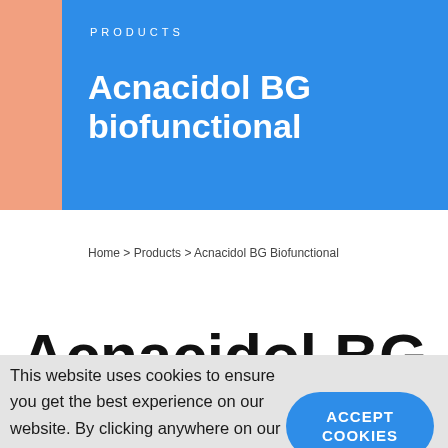PRODUCTS
Acnacidol BG biofunctional
Home > Products > Acnacidol BG Biofunctional
Acnacidol BG
This website uses cookies to ensure you get the best experience on our website. By clicking anywhere on our website you will accept our cookie policy.
ACCEPT COOKIES